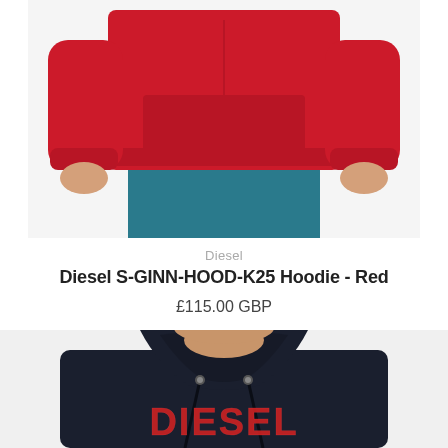[Figure (photo): Cropped photo of a person wearing a red hoodie (Diesel S-GINN-HOOD-K25) with teal/blue jogger pants. Only the torso and hands are visible, no head shown.]
Diesel
Diesel S-GINN-HOOD-K25 Hoodie - Red
£115.00 GBP
[Figure (photo): Cropped photo of a person wearing a dark navy/black Diesel hoodie with 'DIESEL' written in large red block letters on the chest. The hoodie has drawstrings. Only the lower face, neck, and chest are visible.]